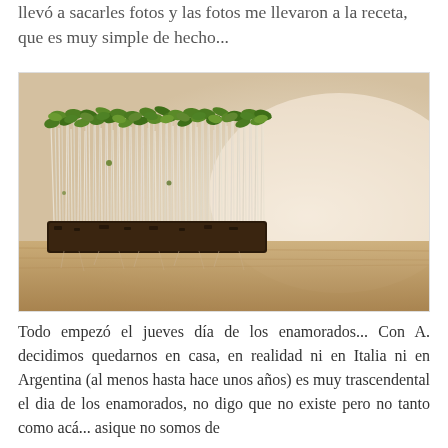llevó a sacarles fotos y las fotos me llevaron a la receta, que es muy simple de hecho...
[Figure (photo): Close-up photo of microgreens/sprouts growing densely from dark soil, with long white stems and small green leaves on top, against a blurred warm background on a wooden surface.]
Todo empezó el jueves día de los enamorados... Con A. decidimos quedarnos en casa, en realidad ni en Italia ni en Argentina (al menos hasta hace unos años) es muy trascendental el dia de los enamorados, no digo que no existe pero no tanto como acá... asique no somos de